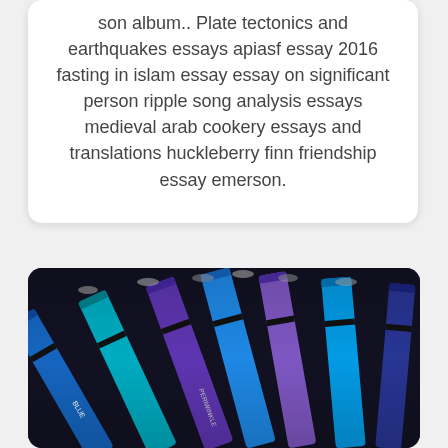son album.. Plate tectonics and earthquakes essays apiasf essay 2016 fasting in islam essay essay on significant person ripple song analysis essays medieval arab cookery essays and translations huckleberry finn friendship essay emerson.
[Figure (photo): Close-up photograph of multiple blue and purple crayons bundled together, with 'PERIWINKLE' visible on one crayon label. Dark background with shades of cyan, turquoise, and purple/blue.]